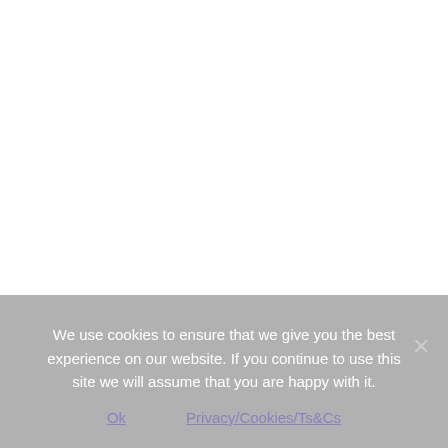We use cookies to ensure that we give you the best experience on our website. If you continue to use this site we will assume that you are happy with it.
Ok
Privacy/Cookies/Ts&Cs